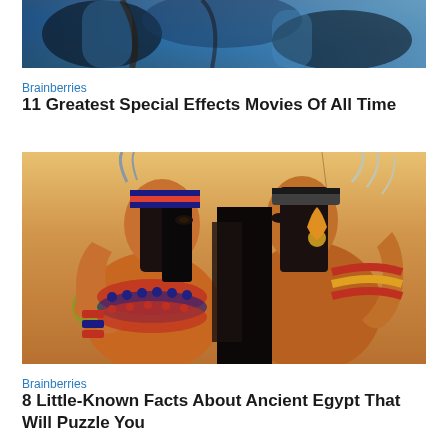[Figure (photo): Partial image at top of page showing blue-toned figures, appears to be from a sci-fi movie (Avatar-like characters)]
Brainberries
11 Greatest Special Effects Movies Of All Time
[Figure (photo): Ancient Egyptian wall painting showing two figures in profile with elaborate headdresses and jewelry, orange and ochre tones]
Brainberries
8 Little-Known Facts About Ancient Egypt That Will Puzzle You